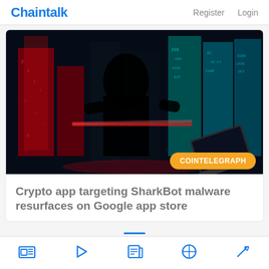Chaintalk   Register   Login
[Figure (photo): Cyberpunk-style illustration showing a shadowy hacker figure in front of glowing red and blue digital city buildings with matrix-style numbers and code. A laptop or tablet is visible at the bottom right. The scene evokes crypto/cybersecurity themes.]
Crypto app targeting SharkBot malware resurfaces on Google app store
COINTELEGRAPH (nav icons: news feed, play, newspaper, compass, pickaxe)